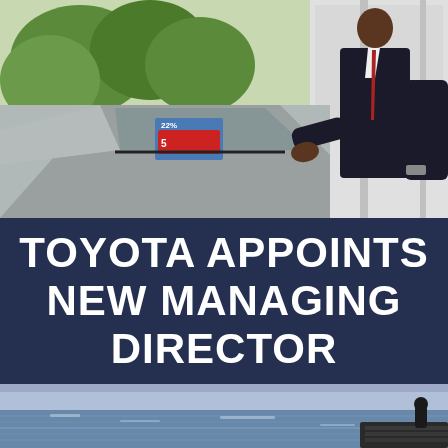[Figure (photo): A person in a dark suit and red tie placing their hand on the hood/windshield of a silver car in a dealership showroom. Trees and a building exterior visible through large windows in the background. A price sticker is visible on the windshield.]
TOYOTA APPOINTS NEW MANAGING DIRECTOR
[Figure (photo): A waterfront scene with calm blue water and a pier/dock structure. A dark figure (person) is visible on the right side near stepped stone or wooden structures.]